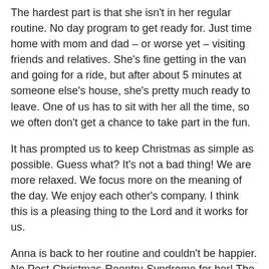The hardest part is that she isn't in her regular routine. No day program to get ready for. Just time home with mom and dad – or worse yet – visiting friends and relatives. She's fine getting in the van and going for a ride, but after about 5 minutes at someone else's house, she's pretty much ready to leave. One of us has to sit with her all the time, so we often don't get a chance to take part in the fun.
It has prompted us to keep Christmas as simple as possible. Guess what? It's not a bad thing! We are more relaxed. We focus more on the meaning of the day. We enjoy each other's company. I think this is a pleasing thing to the Lord and it works for us.
Anna is back to her routine and couldn't be happier. No Post-Christmas-Reentry-Syndrome for her! The rest of us? That's another story.